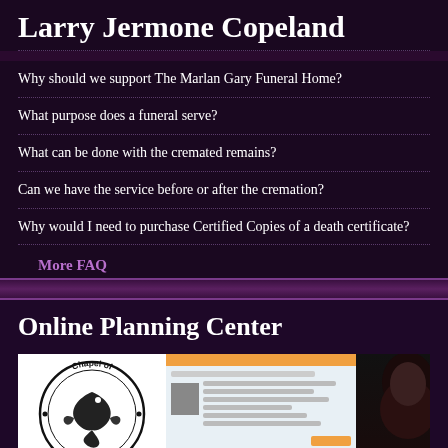Larry Jermone Copeland
Why should we support The Marlan Gary Funeral Home?
What purpose does a funeral serve?
What can be done with the cremated remains?
Can we have the service before or after the cremation?
Why would I need to purchase Certified Copies of a death certificate?
More FAQ
Online Planning Center
[Figure (photo): Composite image showing Chapel of Peace logo (circular seal with bird/dove motif), a screenshot of an online planning form, and a person partially visible on the right edge.]